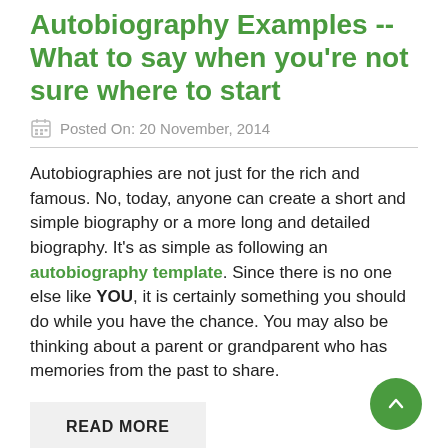Autobiography Examples -- What to say when you're not sure where to start
Posted On: 20 November, 2014
Autobiographies are not just for the rich and famous. No, today, anyone can create a short and simple biography or a more long and detailed biography.  It's as simple as following an autobiography template. Since there is no one else like YOU, it is certainly something you should do while you have the chance. You may also be thinking about a parent or grandparent who has memories from the past to share.
READ MORE